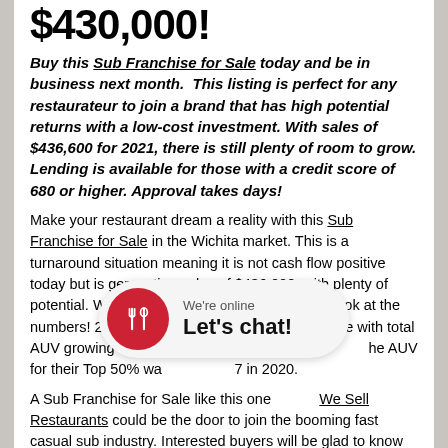$430,000!
Buy this Sub Franchise for Sale today and be in business next month.  This listing is perfect for any restaurateur to join a brand that has high potential returns with a low-cost investment. With sales of $436,600 for 2021, there is still plenty of room to grow. Lending is available for those with a credit score of 680 or higher. Approval takes days!
Make your restaurant dream a reality with this Sub Franchise for Sale in the Wichita market. This is a turnaround situation meaning it is not cash flow positive today but is generating sales of $436,000, with plenty of potential. Why should you join this brand? Just look at the numbers! 2021 was a strong year for the franchise with total AUV growing to $723,559 compared to [obscured] the AUV for their Top 50% wa[obscured]7 in 2020.
A Sub Franchise for Sale like this one [obscured] We Sell Restaurants could be the door to join the booming fast casual sub industry. Interested buyers will be glad to know [obscured]